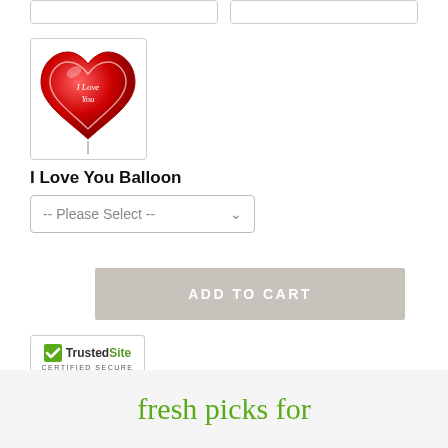[Figure (photo): Red heart-shaped 'I Love You' foil balloon displayed in a white bordered box]
I Love You Balloon
[Figure (other): Dropdown select box reading '-- Please Select --' with a green chevron]
[Figure (other): Gray 'ADD TO CART' button]
[Figure (logo): TrustedSite Certified Secure badge with green checkmark]
fresh picks for